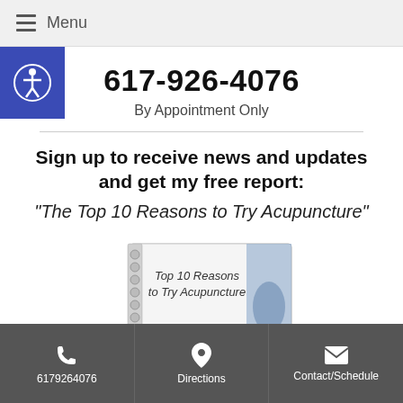Menu
617-926-4076
By Appointment Only
Sign up to receive news and updates and get my free report: “The Top 10 Reasons to Try Acupuncture”
[Figure (illustration): Book cover showing 'Top 10 Reasons to Try Acupuncture' with spiral binding]
6179264076   Directions   Contact/Schedule